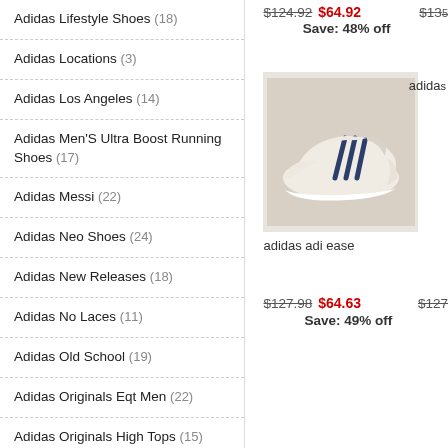Adidas Lifestyle Shoes (18)
Adidas Locations (3)
Adidas Los Angeles (14)
Adidas Men'S Ultra Boost Running Shoes (17)
Adidas Messi (22)
Adidas Neo Shoes (24)
Adidas New Releases (18)
Adidas No Laces (11)
Adidas Old School (19)
Adidas Originals Eqt Men (22)
Adidas Originals High Tops (15)
Adidas Originals Samba (22)
Adidas Originals Shoes For Men (22)
Adidas Originals Shoes Womens (28)
$124.92  $64.92  $133  Save: 48% off
[Figure (photo): Adidas adi ease sneaker in cream/off-white color with dark navy three stripes, low-top style, on grey background]
adidas adi ease
$127.98  $64.63  $127  Save: 49% off